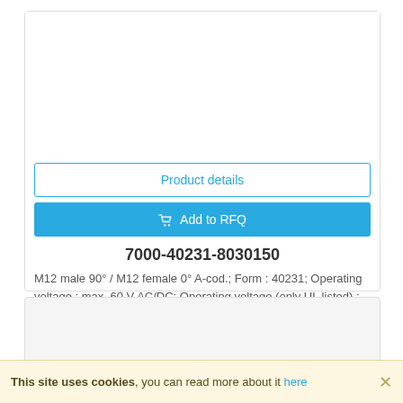Product details
Add to RFQ
7000-40231-8030150
M12 male 90° / M12 female 0° A-cod.; Form : 40231; Operating voltage : max. 60 V AC/DC; Operating voltage (only UL listed) : max. 30 V AC/DC; Rated surge voltage : 1.5 kV; Operatin …
This site uses cookies, you can read more about it here